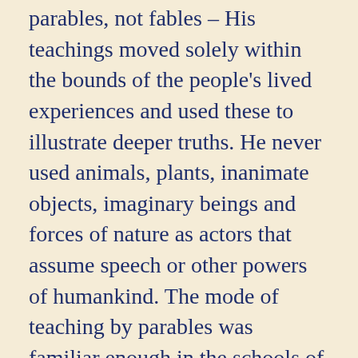parables, not fables – His teachings moved solely within the bounds of the people's lived experiences and used these to illustrate deeper truths. He never used animals, plants, inanimate objects, imaginary beings and forces of nature as actors that assume speech or other powers of humankind. The mode of teaching by parables was familiar enough in the schools of the Rabbis, and the Talmud contains many of great beauty and interest. As used by the Pharisees and Torah Teachers, however, they were regarded as belonging to those who were receiving a higher education, and the son of Sirach was expressing the current feeling of the rabbinical schools when he said of the tillers of the soil and the herdsmen of flocks that they "were not found where parables were spoken"